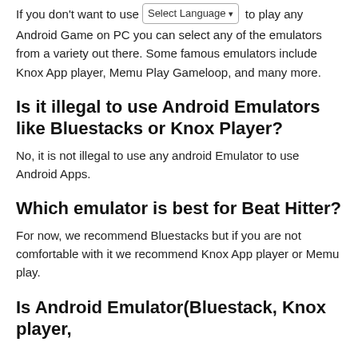If you don't want to use Bluestacks to play any Android Game on PC you can select any of the emulators from a variety out there. Some famous emulators include Knox App player, Memu Play Gameloop, and many more.
Is it illegal to use Android Emulators like Bluestacks or Knox Player?
No, it is not illegal to use any android Emulator to use Android Apps.
Which emulator is best for Beat Hitter?
For now, we recommend Bluestacks but if you are not comfortable with it we recommend Knox App player or Memu play.
Is Android Emulator(Bluestack, Knox player,